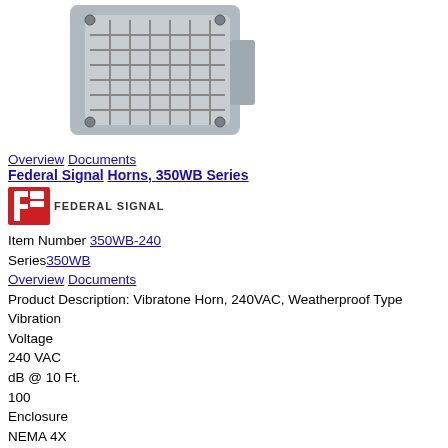[Figure (photo): Photo of a Federal Signal Vibratone Horn (350WB Series), gray weatherproof enclosure with protective grille, shown from front-top angle.]
Overview  Documents
Federal Signal Horns, 350WB Series
[Figure (logo): Federal Signal logo — red and white shield icon with 'FEDERAL SIGNAL' text in dark letters]
Item Number 350WB-240
Series350WB
Overview  Documents
Product Description: Vibratone Horn, 240VAC, Weatherproof Type
Vibration
Voltage
240 VAC
dB @ 10 Ft.
100
Enclosure
NEMA 4X
Range